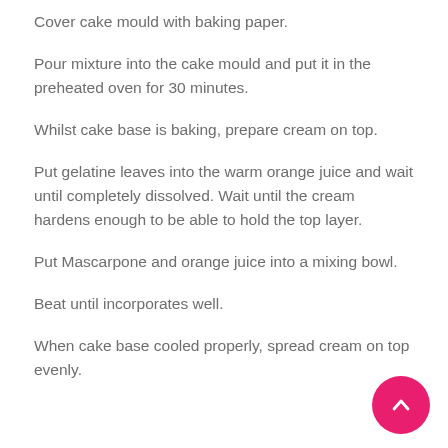Cover cake mould with baking paper.
Pour mixture into the cake mould and put it in the preheated oven for 30 minutes.
Whilst cake base is baking, prepare cream on top.
Put gelatine leaves into the warm orange juice and wait until completely dissolved. Wait until the cream hardens enough to be able to hold the top layer.
Put Mascarpone and orange juice into a mixing bowl.
Beat until incorporates well.
When cake base cooled properly, spread cream on top evenly.